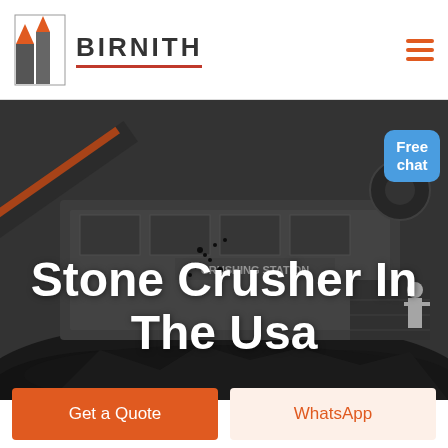[Figure (logo): Birnith company logo with orange building icon and brand name BIRNITH with red underline]
[Figure (photo): Industrial stone crusher / crushing station machine with piles of crushed stone/coal in the foreground, dark industrial background]
Stone Crusher In The Usa
[Figure (other): Free chat button/bubble in blue]
Get a Quote
WhatsApp